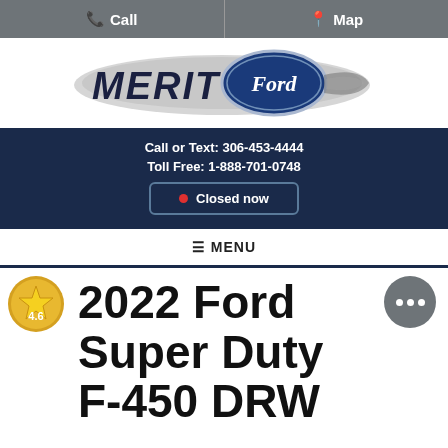Call | Map
[Figure (logo): Merit Ford dealership logo with Ford oval emblem and stylized MERIT text]
Call or Text: 306-453-4444
Toll Free: 1-888-701-0748
Closed now
☰ MENU
2022 Ford Super Duty F-450 DRW